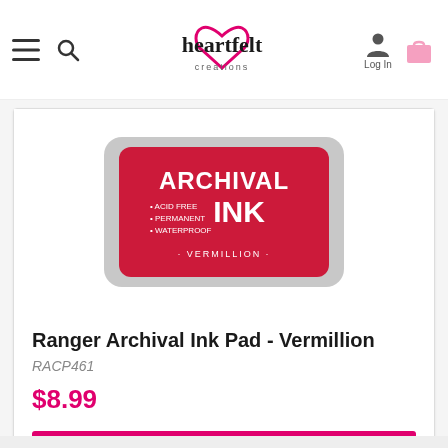Heartfelt Creations — navigation bar with hamburger menu, search, logo, login and cart
[Figure (photo): Red Archival Ink Pad (Vermillion) by Ranger in a white/grey casing, labeled ACID FREE, PERMANENT, WATERPROOF]
Ranger Archival Ink Pad - Vermillion
RACP461
$8.99
ADD TO CART